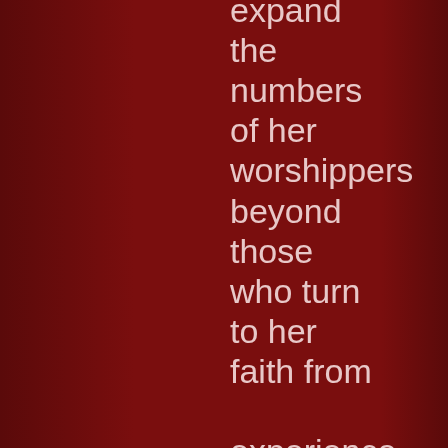expand the numbers of her worshippers beyond those who turn to her faith from experience or birth is unclear,